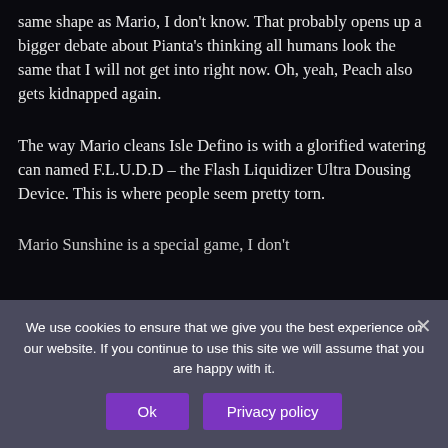same shape as Mario, I don't know. That probably opens up a bigger debate about Pianta's thinking all humans look the same that I will not get into right now. Oh, yeah, Peach also gets kidnapped again.
The way Mario cleans Isle Defino is with a glorified watering can named F.L.U.D.D – the Flash Liquidizer Ultra Dousing Device. This is where people seem pretty torn.
Mario Sunshine is a special game, I don't
We use cookies to ensure that we give you the best experience on our website. If you continue to use this site we will assume that you are happy with it.